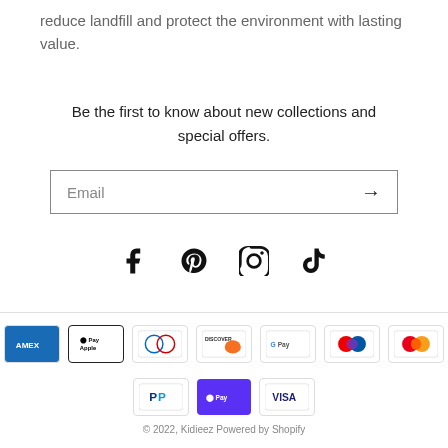reduce landfill and protect the environment with lasting value.
Be the first to know about new collections and special offers.
Email →
[Figure (illustration): Social media icons: Facebook, Pinterest, Instagram, TikTok]
[Figure (illustration): Payment method icons: American Express, Apple Pay, Diners Club, Discover, Google Pay, Maestro, Mastercard, PayPal, Shop Pay, Visa]
© 2022, Kidieez Powered by Shopify